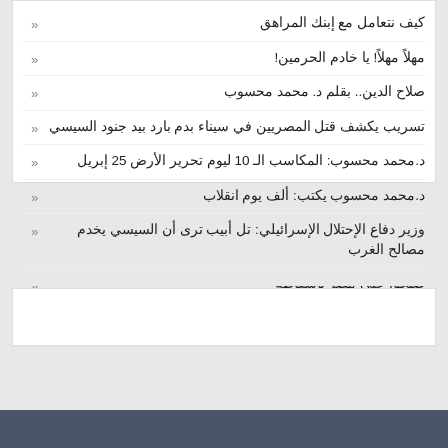كيف نتعامل مع إبنك المراهق
مهلاً مهلاً! يا خادم الحرمين!
صلاح الدين.. بقلم د. محمد محسوب
تسريب يكشف قتل المصريين في سيناء بدم بارد بيد جنود السيسي
د.محمد محسوب: المكاسب الـ 10 ليوم تحرير الأرض 25 إبريل
د.محمد محسوب يكتب: ألف يوم انقلاب
وزير دفاع الإحتلال الإسرائيلي: تل أبيب ترى أن السيسي يخدم مصالح الغرب
صبحوا علي مصر بإسقاطه
د.ثروت نافع: السيسي لن يرحل بطريقة سلمية ويعلن الحرب الأهلية